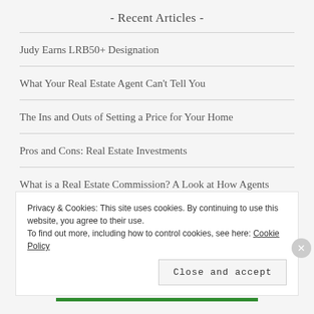- Recent Articles -
Judy Earns LRB50+ Designation
What Your Real Estate Agent Can't Tell You
The Ins and Outs of Setting a Price for Your Home
Pros and Cons: Real Estate Investments
What is a Real Estate Commission? A Look at How Agents Make Their M...
Privacy & Cookies: This site uses cookies. By continuing to use this website, you agree to their use.
To find out more, including how to control cookies, see here: Cookie Policy
Close and accept